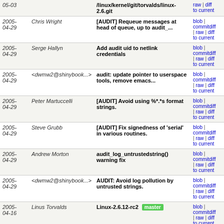| Date | Author | Message | Links |
| --- | --- | --- | --- |
| 2005-05-03 |  | /linux/kernel/git/torvalds/linux-2.6.git | blob | commitdiff | raw | diff to current |
| 2005-04-29 | Chris Wright | [AUDIT] Requeue messages at head of queue, up to audit_... | blob | commitdiff | raw | diff to current |
| 2005-04-29 | Serge Hallyn | Add audit uid to netlink credentials | blob | commitdiff | raw | diff to current |
| 2005-04-29 | <dwmw2@shinybook...> | audit: update pointer to userspace tools, remove emacs... | blob | commitdiff | raw | diff to current |
| 2005-04-29 | Peter Martuccelli | [AUDIT] Avoid using %*.*s format strings. | blob | commitdiff | raw | diff to current |
| 2005-04-29 | Steve Grubb | [AUDIT] Fix signedness of 'serial' in various routines. | blob | commitdiff | raw | diff to current |
| 2005-04-29 | Andrew Morton | audit_log_untrustedstring() warning fix | blob | commitdiff | raw | diff to current |
| 2005-04-29 | <dwmw2@shinybook...> | AUDIT: Avoid log pollution by untrusted strings. | blob | commitdiff | raw | diff to current |
| 2005-04-16 | Linus Torvalds | Linux-2.6.12-rc2 [master] | blob | commitdiff | raw | diff to current |
Unnamed repository; edit this file 'description' to name the repository.
Atom  RSS